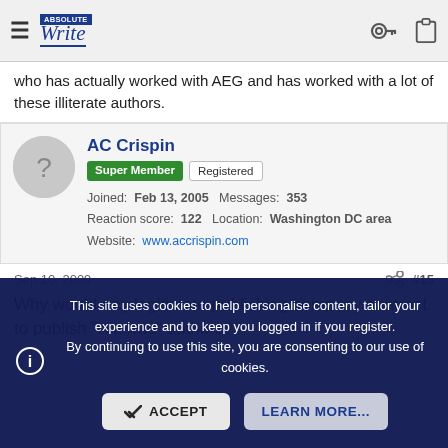≡  AbsoluteWrite  🔑  📋
who has actually worked with AEG and has worked with a lot of these illiterate authors.
AC Crispin
Super Member  Registered
Joined: Feb 13, 2005  Messages: 353
Reaction score: 122  Location: Washington DC area
Website: www.accrispin.com
Sep 10, 2009  #15
Why would any legitimate publishing company contract to publish "illiterate" authors?
This site uses cookies to help personalise content, tailor your experience and to keep you logged in if you register.
By continuing to use this site, you are consenting to our use of cookies.